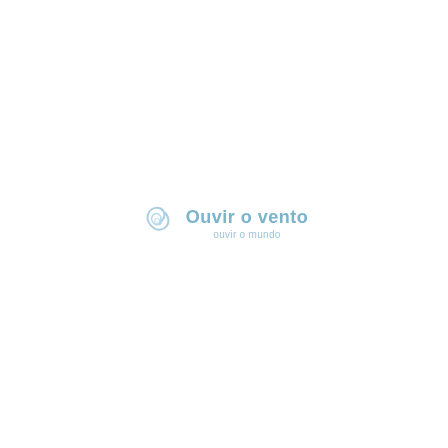[Figure (logo): Logo of 'Ouvir o vento' with a spiral/shell icon in light gray-blue and text 'Ouvir o vento' in bold blue-gray and subtitle 'ouvir o mundo' in lighter smaller text]